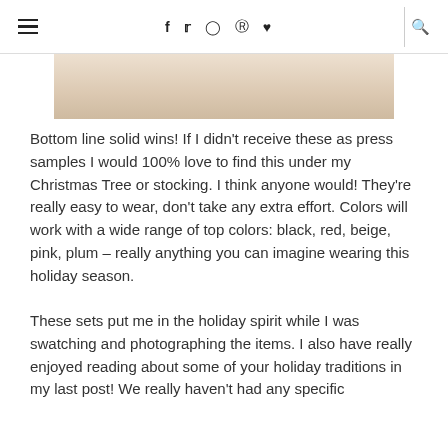☰  f  𝕥  ⊙  ℗  ♥  🔍
[Figure (photo): Partial view of a product photo, likely beauty/cosmetic items, with a warm beige/peach tone]
Bottom line solid wins! If I didn't receive these as press samples I would 100% love to find this under my Christmas Tree or stocking. I think anyone would! They're really easy to wear, don't take any extra effort. Colors will work with a wide range of top colors: black, red, beige, pink, plum – really anything you can imagine wearing this holiday season.
These sets put me in the holiday spirit while I was swatching and photographing the items. I also have really enjoyed reading about some of your holiday traditions in my last post! We really haven't had any specific